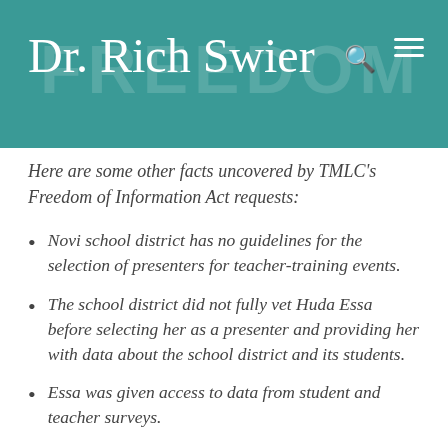Dr. Rich Swier
Here are some other facts uncovered by TMLC's Freedom of Information Act requests:
Novi school district has no guidelines for the selection of presenters for teacher-training events.
The school district did not fully vet Huda Essa before selecting her as a presenter and providing her with data about the school district and its students.
Essa was given access to data from student and teacher surveys.
The school district said it had no records